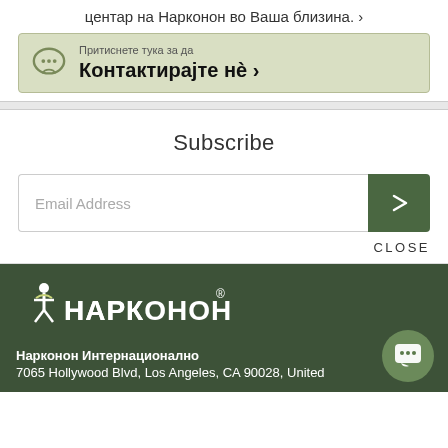центар на Нарконон во Ваша близина. ›
Притиснете тука за да Контактирајте нè ›
Subscribe
Email Address
CLOSE
[Figure (logo): Narconon logo with person figure and Cyrillic text НАРКОНОН with registered trademark symbol]
Нарконон Интернационално
7065 Hollywood Blvd, Los Angeles, CA 90028, United